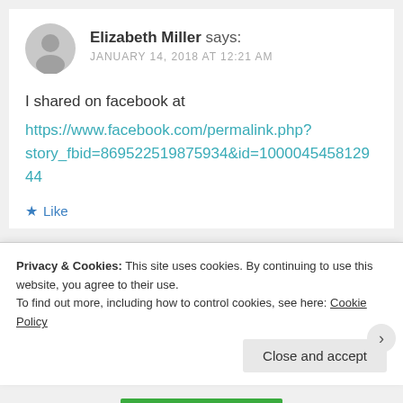Elizabeth Miller says: JANUARY 14, 2018 AT 12:21 AM
I shared on facebook at
https://www.facebook.com/permalink.php?story_fbid=869522519875934&id=100004545812944
Like
Elizabeth Mill...
Privacy & Cookies: This site uses cookies. By continuing to use this website, you agree to their use.
To find out more, including how to control cookies, see here: Cookie Policy
Close and accept